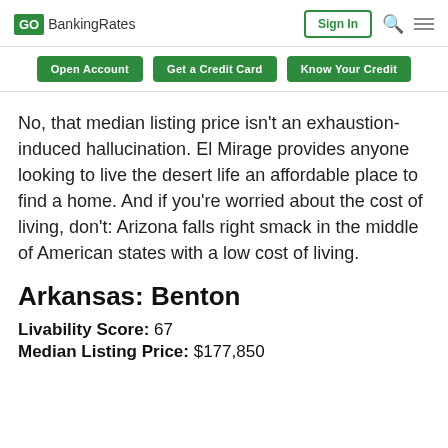GO BankingRates | Sign In
Open Account | Get a Credit Card | Know Your Credit
No, that median listing price isn't an exhaustion-induced hallucination. El Mirage provides anyone looking to live the desert life an affordable place to find a home. And if you're worried about the cost of living, don't: Arizona falls right smack in the middle of American states with a low cost of living.
Arkansas: Benton
Livability Score: 67
Median Listing Price: $177,850